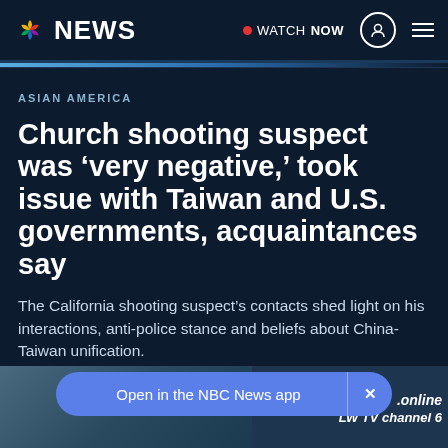NBC NEWS | WATCH NOW
ASIAN AMERICA
Church shooting suspect was ‘very negative,’ took issue with Taiwan and U.S. governments, acquaintances say
The California shooting suspect’s contacts shed light on his interactions, anti-police stance and beliefs about China-Taiwan unification.
[Figure (photo): Bottom strip showing news scene photos with text '.online' and 'LW TV channel 6']
Open in the NBC News app